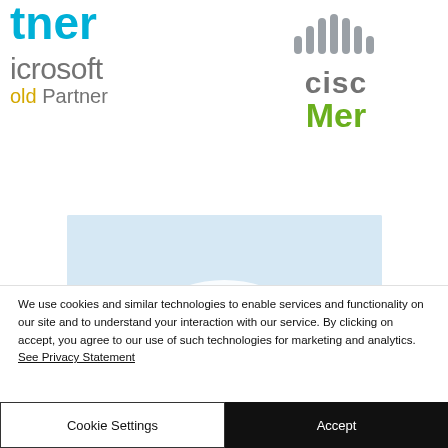[Figure (logo): Partial Microsoft Partner logo — cyan/blue 'tner' text and below 'icrosoft' in gray with 'old Partner' in gold/yellow and gray]
[Figure (logo): Partial Cisco Meraki logo — gray antenna/bars icon above 'cisc' in gray and 'Mer' in green]
[Figure (illustration): Light blue rounded rectangle box, partially visible, with a white arch/curve shape at the bottom]
We use cookies and similar technologies to enable services and functionality on our site and to understand your interaction with our service. By clicking on accept, you agree to our use of such technologies for marketing and analytics. See Privacy Statement
Cookie Settings
Accept